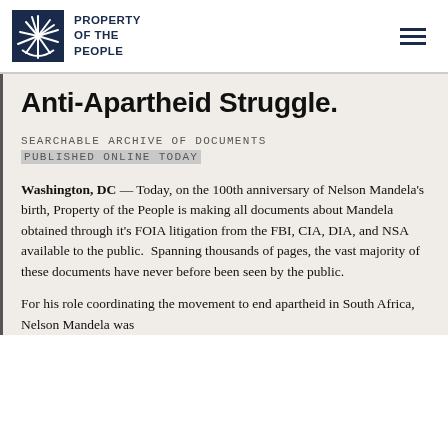PROPERTY OF THE PEOPLE
Anti-Apartheid Struggle.
SEARCHABLE ARCHIVE OF DOCUMENTS PUBLISHED ONLINE TODAY
Washington, DC — Today, on the 100th anniversary of Nelson Mandela's birth, Property of the People is making all documents about Mandela obtained through it's FOIA litigation from the FBI, CIA, DIA, and NSA available to the public.  Spanning thousands of pages, the vast majority of these documents have never before been seen by the public.
For his role coordinating the movement to end apartheid in South Africa, Nelson Mandela was